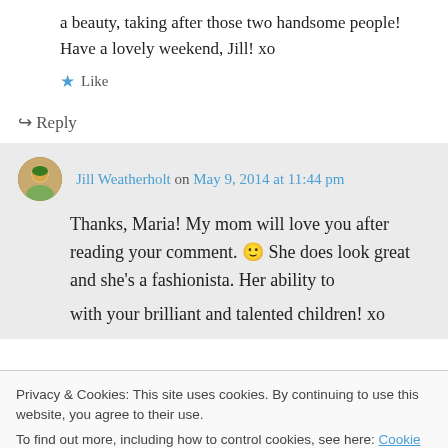a beauty, taking after those two handsome people! Have a lovely weekend, Jill! xo
★ Like
↪ Reply
Jill Weatherholt on May 9, 2014 at 11:44 pm
Thanks, Maria! My mom will love you after reading your comment. 🙂 She does look great and she's a fashionista. Her ability to
Privacy & Cookies: This site uses cookies. By continuing to use this website, you agree to their use.
To find out more, including how to control cookies, see here: Cookie Policy
Close and accept
with your brilliant and talented children! xo